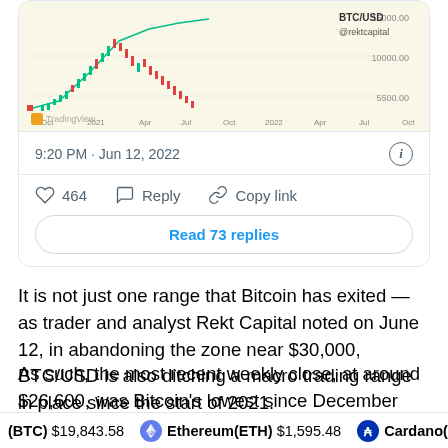[Figure (screenshot): Partial screenshot of a TradingView BTC/USD chart from @rektcapital showing price from Oct 2020 to Oct 2022, with candlesticks and a green uptrend line. Labels show BTC/USD, @rektcapital, and y-axis values around $5000-$15000 range partial view.]
9:20 PM · Jun 12, 2022
464   Reply   Copy link
Read 73 replies
It is not just one range that Bitcoin has exited — as trader and analyst Rekt Capital noted on June 12, in abandoning the zone near $30,000, BTC/USD is also ditching a macro trading range in place since the start of 2021.
As such, the most recent weekly close, at around $26,600, was Bitcoin's lowest since December 2020
(BTC) $19,843.58   Ethereum(ETH) $1,595.48   Cardano(ADA